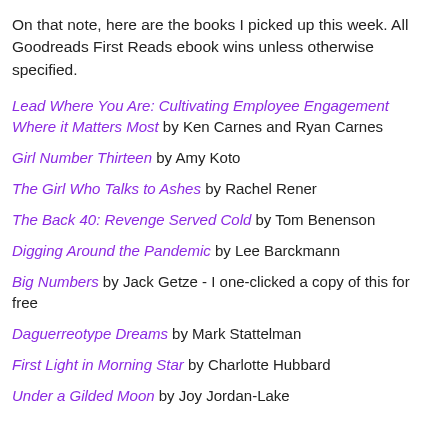On that note, here are the books I picked up this week. All Goodreads First Reads ebook wins unless otherwise specified.
Lead Where You Are: Cultivating Employee Engagement Where it Matters Most by Ken Carnes and Ryan Carnes
Girl Number Thirteen by Amy Koto
The Girl Who Talks to Ashes by Rachel Rener
The Back 40: Revenge Served Cold by Tom Benenson
Digging Around the Pandemic by Lee Barckmann
Big Numbers by Jack Getze - I one-clicked a copy of this for free
Daguerreotype Dreams by Mark Stattelman
First Light in Morning Star by Charlotte Hubbard
Under a Gilded Moon by Joy Jordan-Lake